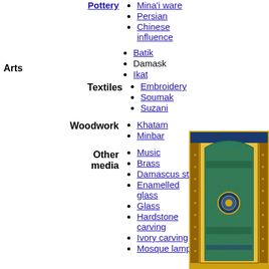Pottery (link)
Mina'i ware
Persian
Chinese influence
Arts
Batik
Damask
Ikat
Textiles
Embroidery
Soumak
Suzani
Woodwork
Khatam
Minbar
Other media
Music
Brass
Damascus steel
Enamelled glass
Glass
Hardstone carving
Ivory carving
Mosque lamp
[Figure (photo): Decorative Islamic architectural panel with ornate tilework featuring an arched mihrab design with gold, green, and blue mosaic patterns.]